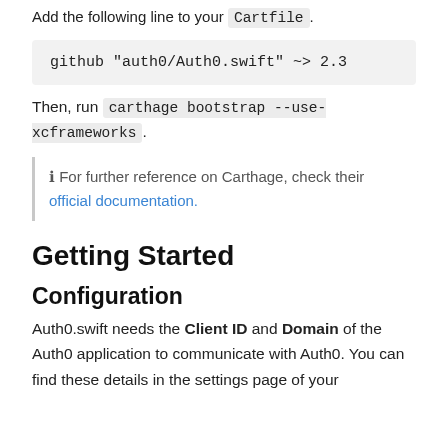Add the following line to your Cartfile.
github "auth0/Auth0.swift" ~> 2.3
Then, run carthage bootstrap --use-xcframeworks.
ℹ For further reference on Carthage, check their official documentation.
Getting Started
Configuration
Auth0.swift needs the Client ID and Domain of the Auth0 application to communicate with Auth0. You can find these details in the settings page of your